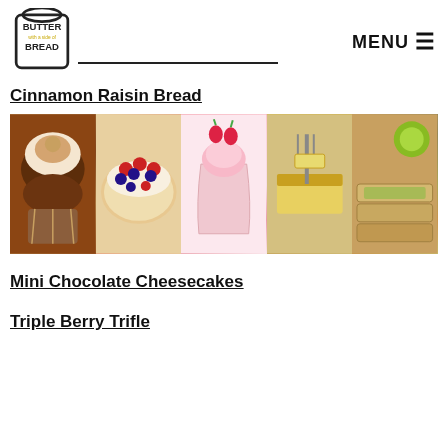Butter with a side of Bread — MENU
Cinnamon Raisin Bread
[Figure (photo): A horizontal strip of five food photos: chocolate cupcake with whipped cream, a bowl of mixed berries trifle, a pink strawberry ice cream sundae, pineapple pie bars, and avocado wraps with lime.]
Mini Chocolate Cheesecakes
Triple Berry Trifle